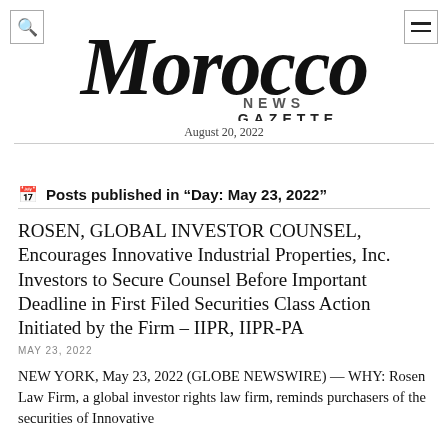[Figure (logo): Morocco News Gazette logo with script 'Morocco' text and 'NEWS GAZETTE' subtitle]
August 20, 2022
Posts published in “Day: May 23, 2022”
ROSEN, GLOBAL INVESTOR COUNSEL, Encourages Innovative Industrial Properties, Inc. Investors to Secure Counsel Before Important Deadline in First Filed Securities Class Action Initiated by the Firm – IIPR, IIPR-PA
MAY 23, 2022
NEW YORK, May 23, 2022 (GLOBE NEWSWIRE) — WHY: Rosen Law Firm, a global investor rights law firm, reminds purchasers of the securities of Innovative Industrial Properties, Inc. (NYSE: IIPR, IIPR-PA)